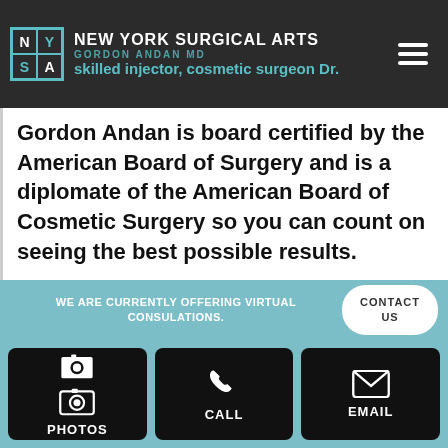NEW YORK SURGICAL ARTS | GORDON ANDAN MD | skilled injector, cosmetic surgeon Dr.
Gordon Andan is board certified by the American Board of Surgery and is a diplomate of the American Board of Cosmetic Surgery so you can count on seeing the best possible results.
The first step in achieving your ideal look is to talk one-on-one with Dr. Andan. Contact us today or call 516-746-
WE ARE CURRENTLY OFFERING VIRTUAL CONSULATIONS.
PHOTOS | CALL | EMAIL